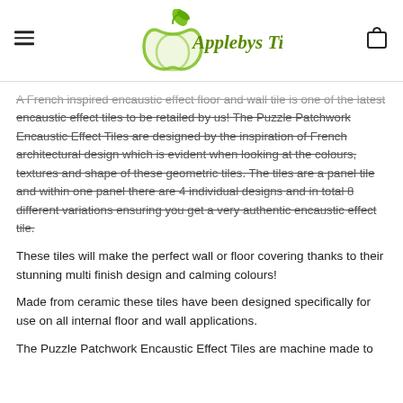Applebys Tiles
A French inspired encaustic effect floor and wall tile is one of the latest encaustic effect tiles to be retailed by us! The Puzzle Patchwork Encaustic Effect Tiles are designed by the inspiration of French architectural design which is evident when looking at the colours, textures and shape of these geometric tiles. The tiles are a panel tile and within one panel there are 4 individual designs and in total 8 different variations ensuring you get a very authentic encaustic effect tile.
These tiles will make the perfect wall or floor covering thanks to their stunning multi finish design and calming colours!
Made from ceramic these tiles have been designed specifically for use on all internal floor and wall applications.
The Puzzle Patchwork Encaustic Effect Tiles are machine made to